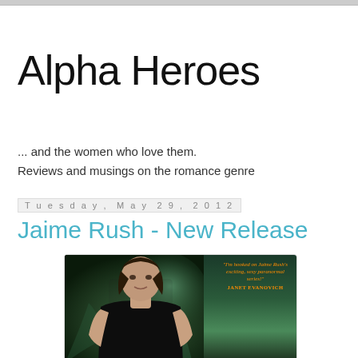Alpha Heroes
... and the women who love them.
Reviews and musings on the romance genre
Tuesday, May 29, 2012
Jaime Rush - New Release
[Figure (photo): Book cover photo showing a dark-haired man in a black t-shirt with a green smoky background, with a quote from Janet Evanovich: 'I'm hooked on Jaime Rush's exciting, sexy paranormal series!']